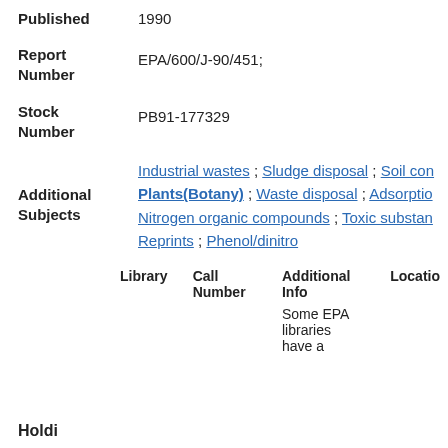Published: 1990
Report Number: EPA/600/J-90/451;
Stock Number: PB91-177329
Additional Subjects: Industrial wastes ; Sludge disposal ; Soil con... Plants(Botany) ; Waste disposal ; Adsorption... Nitrogen organic compounds ; Toxic substan... Reprints ; Phenol/dinitro
| Library | Call Number | Additional Info | Location |
| --- | --- | --- | --- |
|  |  | Some EPA libraries have a |  |